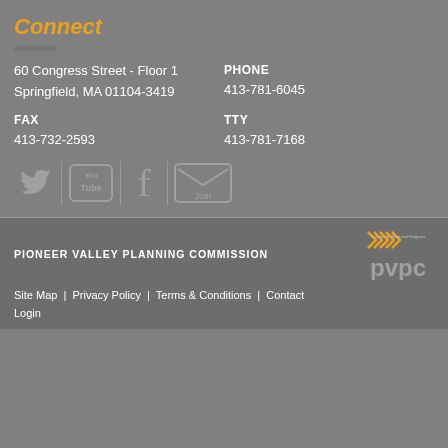Connect
60 Congress Street - Floor 1
Springfield, MA 01104-3419
PHONE
413-781-6045
FAX
413-732-2593
TTY
413-781-7168
[Figure (infographic): Social media icons row: Twitter bird, YouTube logo, Facebook logo, Join (email) button]
PIONEER VALLEY PLANNING COMMISSION
[Figure (logo): PVPC logo with orange chevrons and text 'Catalyst for Regional Progress' above 'pvpc' in grey]
Site Map   Privacy Policy   Terms & Conditions   Contact
Login